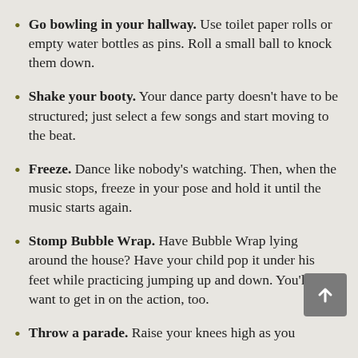Go bowling in your hallway. Use toilet paper rolls or empty water bottles as pins. Roll a small ball to knock them down.
Shake your booty. Your dance party doesn't have to be structured; just select a few songs and start moving to the beat.
Freeze. Dance like nobody's watching. Then, when the music stops, freeze in your pose and hold it until the music starts again.
Stomp Bubble Wrap. Have Bubble Wrap lying around the house? Have your child pop it under his feet while practicing jumping up and down. You'll want to get in on the action, too.
Throw a parade. Raise your knees high as you